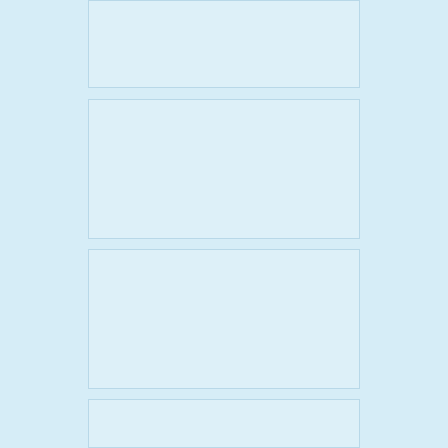[Figure (other): Empty light blue rectangle, first of four stacked panels]
[Figure (other): Empty light blue rectangle, second of four stacked panels]
[Figure (other): Empty light blue rectangle, third of four stacked panels]
[Figure (other): Empty light blue rectangle, fourth of four stacked panels (partial)]